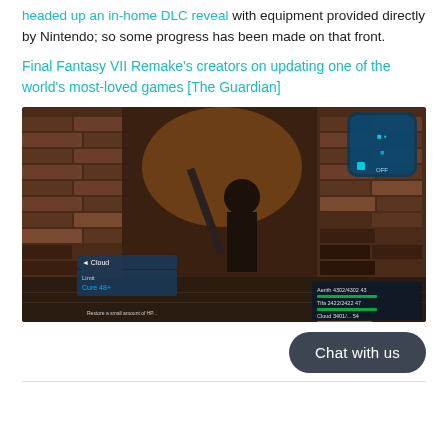headed up an in-home DLC reveal with equipment provided directly by Nintendo; so some progress has been made on that front.
Final Fantasy VII Remake's creators on updating one of the world's most-loved games [The Guardian]
[Figure (screenshot): Screenshot from Final Fantasy VII Remake showing a character in a brick alley with game UI elements including a blue map icon in the top right corner and battle status bars in the bottom right, and a battle menu on the bottom left.]
Chat with us